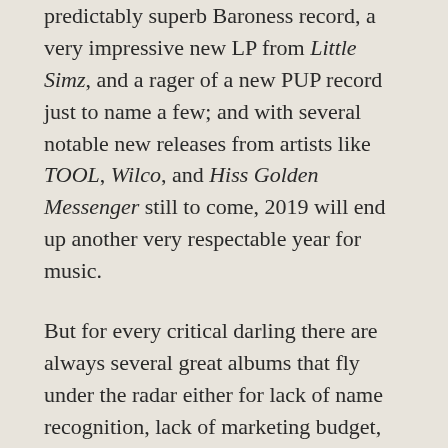predictably superb Baroness record, a very impressive new LP from Little Simz, and a rager of a new PUP record just to name a few; and with several notable new releases from artists like TOOL, Wilco, and Hiss Golden Messenger still to come, 2019 will end up another very respectable year for music.
But for every critical darling there are always several great albums that fly under the radar either for lack of name recognition, lack of marketing budget, or for not fitting the sonic mold that every critic, intentionally or not, imposes on their ratings. That's why we put together this list of ten albums that aren't getting much critical attention, but we think need to be heard.